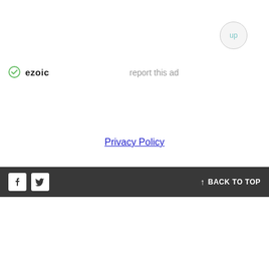[Figure (other): Up button — circular button with light border and teal 'up' text, positioned top right]
[Figure (logo): Ezoic logo with green circular checkmark icon and bold 'ezoic' text]
report this ad
Privacy Policy
BACK TO TOP with Facebook and Twitter social icons on dark bar